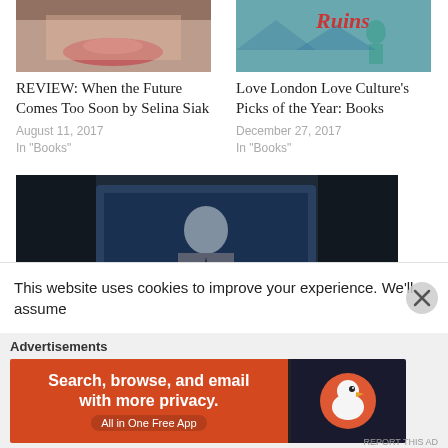[Figure (photo): Cropped photo showing lower portion of a woman's face (lips visible), reddish-brown tones]
REVIEW: When the Future Comes Too Soon by Selina Siak
August 11, 2017
In "Books"
[Figure (photo): Book cover with teal/turquoise colors, partial text visible including 'Ruins', figure of a woman]
Love London Love Culture's Picks of the Year: Books
December 27, 2017
In "Books"
[Figure (photo): Movie poster or screenshot for NETWORK showing a man in a suit on a screen with large bold text NETWORK at the bottom]
Love London Love Culture's Round Up of the Week: Sunday 19th November
This website uses cookies to improve your experience. We'll assume
Advertisements
[Figure (screenshot): DuckDuckGo advertisement banner: orange left side with text 'Search, browse, and email with more privacy. All in One Free App', dark right side with DuckDuckGo duck logo]